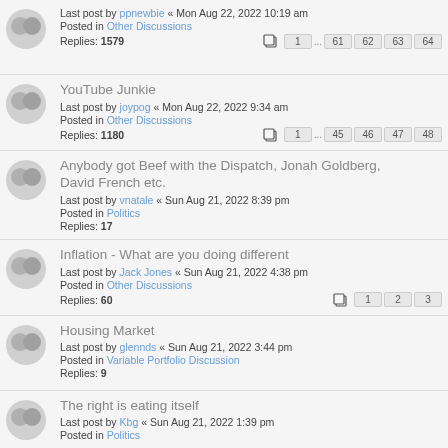Last post by ppnewbie « Mon Aug 22, 2022 10:19 am
Posted in Other Discussions
Replies: 1579
Pages: 1 ... 61 62 63 64
YouTube Junkie
Last post by joypog « Mon Aug 22, 2022 9:34 am
Posted in Other Discussions
Replies: 1180
Pages: 1 ... 45 46 47 48
Anybody got Beef with the Dispatch, Jonah Goldberg, David French etc.
Last post by vnatale « Sun Aug 21, 2022 8:39 pm
Posted in Politics
Replies: 17
Inflation - What are you doing different
Last post by Jack Jones « Sun Aug 21, 2022 4:38 pm
Posted in Other Discussions
Replies: 60
Pages: 1 2 3
Housing Market
Last post by glennds « Sun Aug 21, 2022 3:44 pm
Posted in Variable Portfolio Discussion
Replies: 9
The right is eating itself
Last post by Kbg « Sun Aug 21, 2022 1:39 pm
Posted in Politics